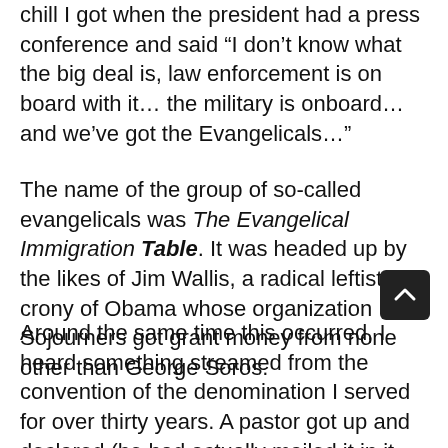chill I got when the president had a press conference and said “I don’t know what the big deal is, law enforcement is on board with it… the military is onboard…and we’ve got the Evangelicals…”
The name of the group of so-called evangelicals was The Evangelical Immigration Table. It was headed up by the likes of Jim Wallis, a radical leftist crony of Obama whose organization Sojourners got grant money from none other than George Soros.
Around the same time this occurred, I heard something streamed from the convention of the denomination I served for over thirty years. A pastor got up and declared (he had actually mailed it in it before the convention) that he had a Word from Jesus. He was allowed to give it at a plenary session of the convention. In essence he said “If the group did not welcome the